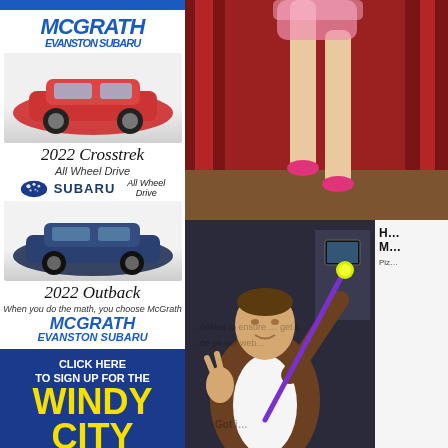[Figure (photo): McGrath Evanston Subaru advertisement featuring 2022 Crosstrek red SUV, Subaru logo, 2022 Outback blue SUV, tagline, and McGrath Evanston Subaru branding]
[Figure (photo): Windy City Times newsletter signup advertisement with blue background and yellow text]
[Figure (photo): Photo of dancer legs in pink costume on red curtain background]
[Figure (photo): Photo of man holding a glowing stick (baton/wand) and making peace sign, indoors]
H... M... Piz...